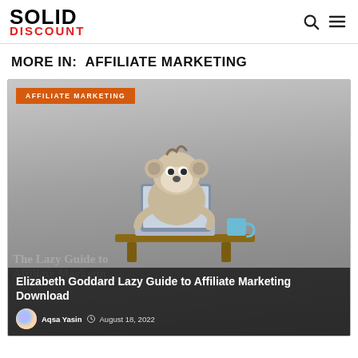SOLID DISCOUNT
MORE IN: AFFILIATE MARKETING
[Figure (illustration): Cartoon sloth sitting at a laptop computer with a coffee mug, used as article thumbnail for affiliate marketing content]
Elizabeth Goddard Lazy Guide to Affiliate Marketing Download
Aqsa Yasin  August 18, 2022